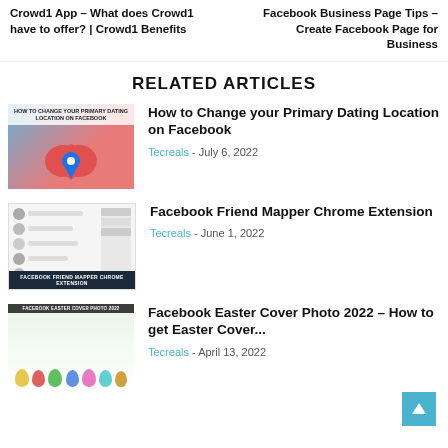Crowd1 App – What does Crowd1 have to offer? | Crowd1 Benefits
Facebook Business Page Tips – Create Facebook Page for Business
RELATED ARTICLES
[Figure (photo): Thumbnail image for article about changing primary dating location on Facebook]
How to Change your Primary Dating Location on Facebook
Tecreals - July 6, 2022
[Figure (screenshot): Thumbnail image showing Facebook Friend Mapper Chrome Extension screenshot]
Facebook Friend Mapper Chrome Extension
Tecreals - June 1, 2022
[Figure (photo): Thumbnail image for Facebook Easter Cover Photo 2022 article with Easter eggs]
Facebook Easter Cover Photo 2022 – How to get Easter Cover...
Tecreals - April 13, 2022